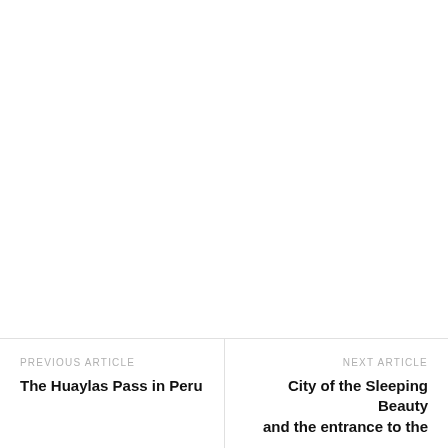PREVIOUS ARTICLE
The Huaylas Pass in Peru
NEXT ARTICLE
City of the Sleeping Beauty and the entrance to the